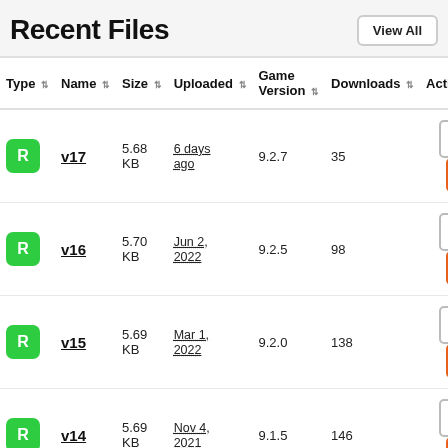Recent Files
| Type | Name | Size | Uploaded | Game Version | Downloads | Actions |
| --- | --- | --- | --- | --- | --- | --- |
| R | v17 | 5.68 KB | 6 days ago | 9.2.7 | 35 | download | share |
| R | v16 | 5.70 KB | Jun 2, 2022 | 9.2.5 | 98 | download | share |
| R | v15 | 5.69 KB | Mar 1, 2022 | 9.2.0 | 138 | download | share |
| R | v14 | 5.69 KB | Nov 4, 2021 | 9.1.5 | 146 | download | share |
| R | v13 | 5.67 KB | Jun 28, 2021 | 9.1.0 | 165 | download | share |
| R |  |  |  |  |  | download | share |